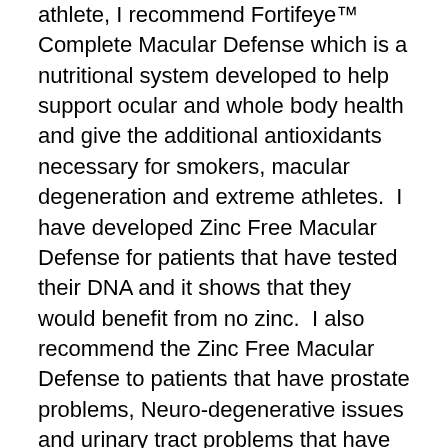athlete, I recommend Fortifeye™ Complete Macular Defense which is a nutritional system developed to help support ocular and whole body health and give the additional antioxidants necessary for smokers, macular degeneration and extreme athletes. I have developed Zinc Free Macular Defense for patients that have tested their DNA and it shows that they would benefit from no zinc. I also recommend the Zinc Free Macular Defense to patients that have prostate problems, Neuro-degenerative issues and urinary tract problems that have ARMD. I also recommend all of my patients take a supplement called Fortifeye Focus. This supplement at one per day dosing gives 6mg of astaxanthin along with additional lutein and zeaxanthin that are all three crucial for retinal health. The hottest science and reason for taking Fortifeye Focus is to absorb the harmful blue light. Children should be taking the all new Fortifeye Focus Chewi once a day to protect